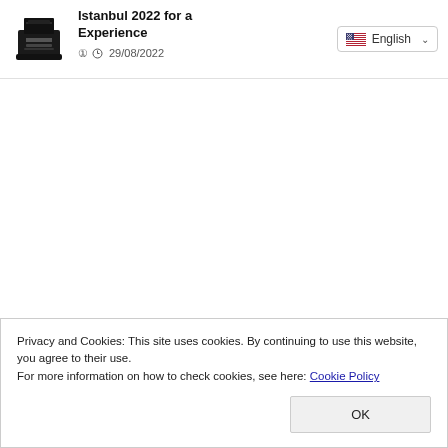[Figure (photo): Small black printer/device thumbnail image on the left side of the article header]
Istanbul 2022 for a Experience
29/08/2022
English
Privacy and Cookies: This site uses cookies. By continuing to use this website, you agree to their use.
For more information on how to check cookies, see here: Cookie Policy
OK